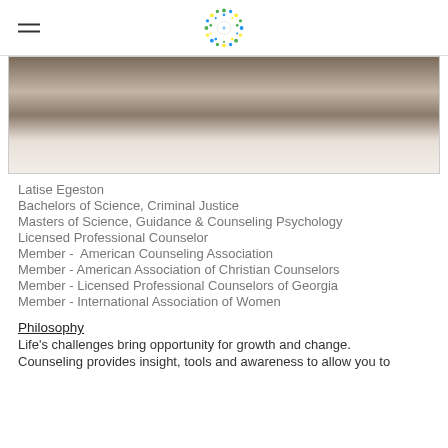[hamburger menu icon] [logo]
[Figure (photo): Close-up photo of a person's neck and shoulder area wearing a white garment, blurred/cropped portrait]
Latise Egeston
Bachelors of Science, Criminal Justice
Masters of Science, Guidance & Counseling Psychology
Licensed Professional Counselor
Member -  American Counseling Association
Member - American Association of Christian Counselors
Member - Licensed Professional Counselors of Georgia
Member - International Association of Women
Philosophy
Life's challenges bring opportunity for growth and change.
Counseling provides insight, tools and awareness to allow you to